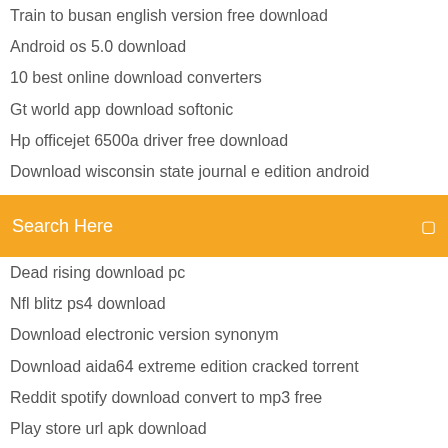Train to busan english version free download
Android os 5.0 download
10 best online download converters
Gt world app download softonic
Hp officejet 6500a driver free download
Download wisconsin state journal e edition android
Black ops 4 pc multiplayer stuck on download
Search Here
Dead rising download pc
Nfl blitz ps4 download
Download electronic version synonym
Download aida64 extreme edition cracked torrent
Reddit spotify download convert to mp3 free
Play store url apk download
Traffic rider apk download
Software inkscapae free download full version
Playstaion 3 download minecraft
Roboto condensed light download steam air skin